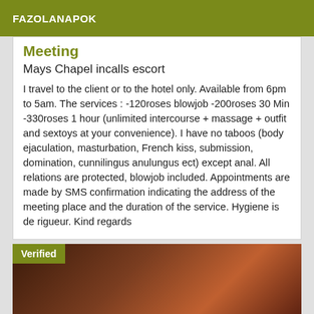FAZOLANAPOK
Meeting
Mays Chapel incalls escort
I travel to the client or to the hotel only. Available from 6pm to 5am. The services : -120roses blowjob -200roses 30 Min -330roses 1 hour (unlimited intercourse + massage + outfit and sextoys at your convenience). I have no taboos (body ejaculation, masturbation, French kiss, submission, domination, cunnilingus anulungus ect) except anal. All relations are protected, blowjob included. Appointments are made by SMS confirmation indicating the address of the meeting place and the duration of the service. Hygiene is de rigueur. Kind regards
[Figure (photo): Photo with Verified badge overlay on dark reddish-brown background]